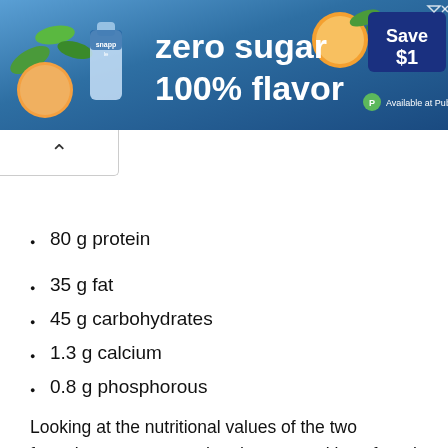[Figure (other): Advertisement banner for Snapple: 'zero sugar 100% flavor' with Save $1 button and Available at Publix label]
80 g protein
35 g fat
45 g carbohydrates
1.3 g calcium
0.8 g phosphorous
Looking at the nutritional values of the two formulae, we can see that the composition of cow's milk is half that of dog's milk. If we think we can just double the portion, then it is unfortunately not as simple. The puppies can only stomach so